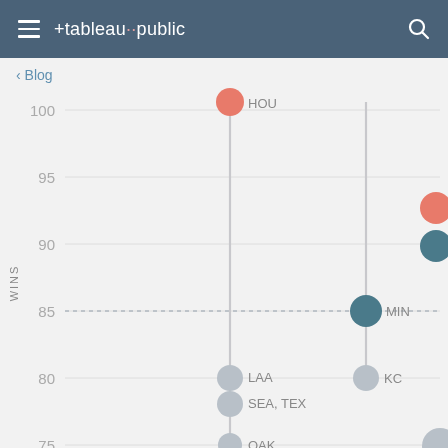tableau public
< Blog
[Figure (scatter-plot): Vertical dot plot showing MLB team win totals. Y-axis shows wins from 75 to 100. Two vertical lines with dots at various win levels. Left line shows HOU at ~100 (red/salmon dot at top), LAA at ~80 (gray dot), SEA/TEX at ~79 (gray dot), OAK at ~75 (gray dot). Right line shows MIN at ~85 (teal dot), KC at ~80 (gray dot). A dashed horizontal line crosses at 85. Legend on right shows red dot and teal dot. Partial gray dot visible bottom-right.]